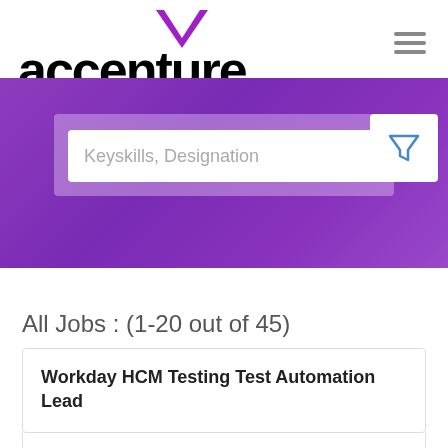[Figure (logo): Accenture logo with purple chevron mark above the wordmark 'accenture' in bold black, and a hamburger menu icon on the right]
[Figure (screenshot): Purple hero banner with a search bar showing placeholder text 'Keyskills, Designation' and a filter icon button on the right]
All Jobs : (1-20 out of 45)
Workday HCM Testing Test Automation Lead